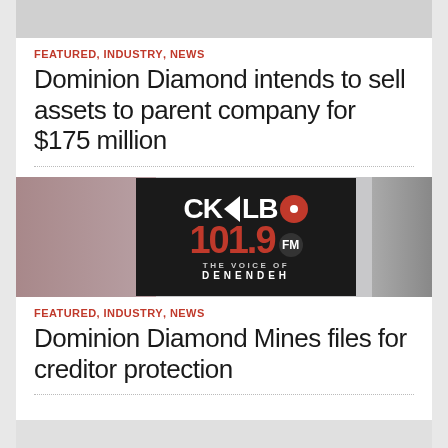FEATURED, INDUSTRY, NEWS
Dominion Diamond intends to sell assets to parent company for $175 million
[Figure (photo): CKLB 101.9 FM The Voice of Denendeh radio station logo on a blurred background]
FEATURED, INDUSTRY, NEWS
Dominion Diamond Mines files for creditor protection